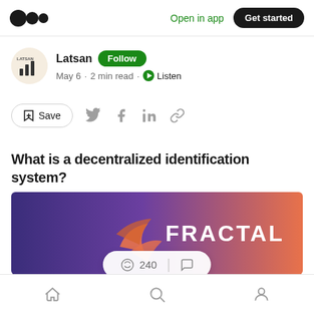Medium logo | Open in app | Get started
Latsan · Follow · May 6 · 2 min read · Listen
Save (social share icons: Twitter, Facebook, LinkedIn, Link)
What is a decentralized identification system?
[Figure (photo): Fractal banner image with purple-to-orange gradient background and Fractal logo with orange swoosh icon]
240 (clap count) | comment icon
Home | Search | Profile (bottom navigation icons)